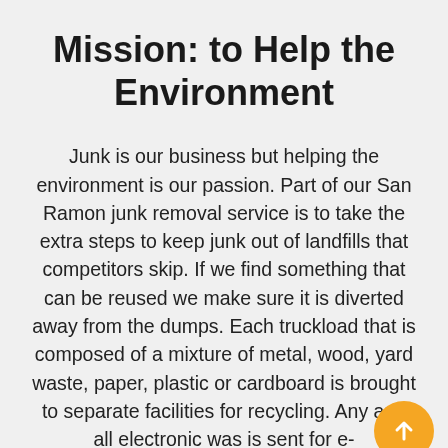Mission: to Help the Environment
Junk is our business but helping the environment is our passion. Part of our San Ramon junk removal service is to take the extra steps to keep junk out of landfills that competitors skip. If we find something that can be reused we make sure it is diverted away from the dumps. Each truckload that is composed of a mixture of metal, wood, yard waste, paper, plastic or cardboard is brought to separate facilities for recycling. Any and all electronic was is sent for e-